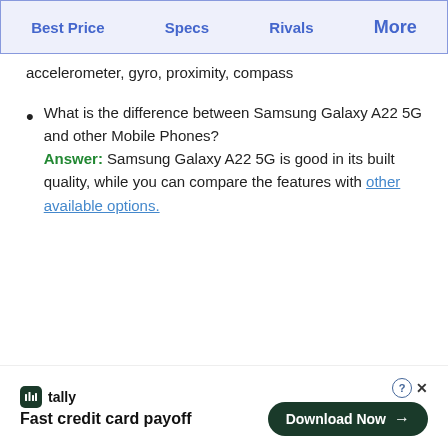Best Price  Specs  Rivals  More
accelerometer, gyro, proximity, compass
What is the difference between Samsung Galaxy A22 5G and other Mobile Phones? Answer: Samsung Galaxy A22 5G is good in its built quality, while you can compare the features with other available options.
[Figure (screenshot): Advertisement banner for Tally app: 'Fast credit card payoff' with a 'Download Now' button]